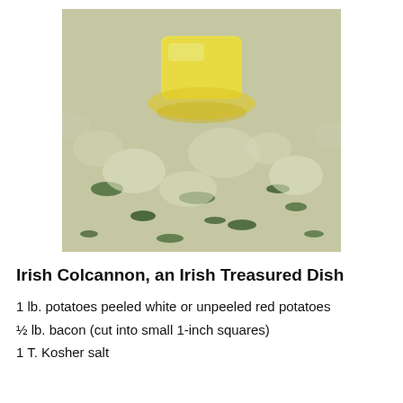[Figure (photo): Close-up photo of Irish Colcannon - mashed potatoes with kale/cabbage and a pat of melting butter on top]
Irish Colcannon, an Irish Treasured Dish
1 lb. potatoes peeled white or unpeeled red potatoes
½ lb. bacon (cut into small 1-inch squares)
1 T. Kosher salt